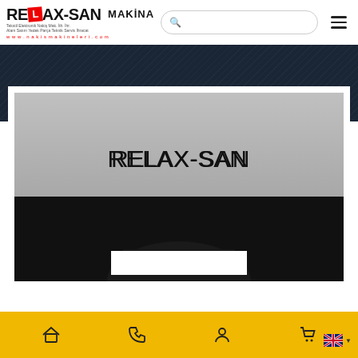[Figure (logo): RELAX-SAN MAKiNA logo with red X box, company tagline and website www.nakismakineleri.com]
[Figure (screenshot): Website screenshot showing dark navy diagonal-striped header banner, white product display card with gray upper area labeled RELAX-SAN and dark machine silhouette below, golden yellow navigation bar at bottom with four icons and English language selector]
RELAX-SAN